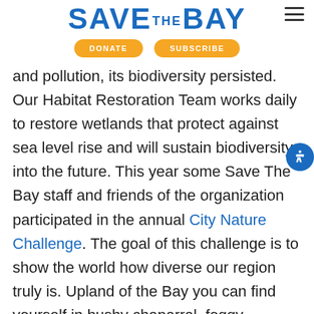SAVE THE BAY
DONATE | SUBSCRIBE
and pollution, its biodiversity persisted. Our Habitat Restoration Team works daily to restore wetlands that protect against sea level rise and will sustain biodiversity into the future. This year some Save The Bay staff and friends of the organization participated in the annual City Nature Challenge. The goal of this challenge is to show the world how diverse our region truly is. Upland of the Bay you can find yourself in bushy chaparral, foggy redwood gulches, and oak woodlands. The flora and fauna vary widely here but during spring the landscape is dominated by